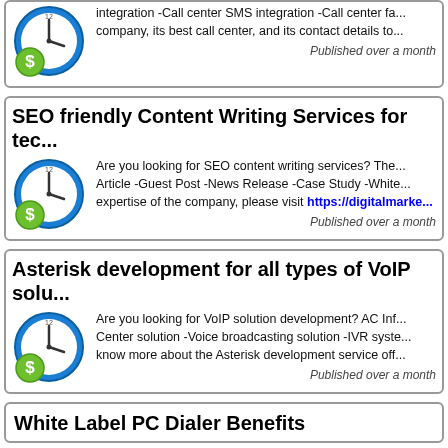integration -Call center SMS integration -Call center fax integration... company, its best call center, and its contact details to...
Published over a month
SEO friendly Content Writing Services for tec...
Are you looking for SEO content writing services? The... Article -Guest Post -News Release -Case Study -White... expertise of the company, please visit https://digitalmarke...
Published over a month
Asterisk development for all types of VoIP solu...
Are you looking for VoIP solution development? AC Inf... Center solution -Voice broadcasting solution -IVR syste... know more about the Asterisk development service off...
Published over a month
White Label PC Dialer Benefits